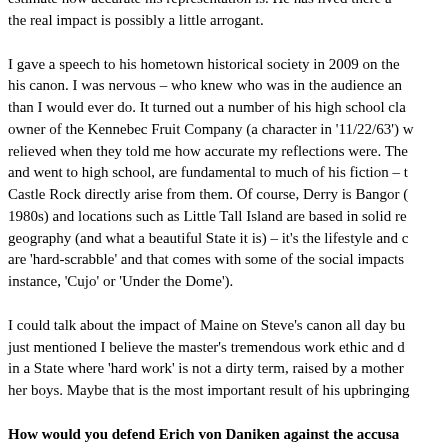estimate how accurate his representation is. He has lived there and the real impact is possibly a little arrogant.
I gave a speech to his hometown historical society in 2009 on the his canon. I was nervous – who knew who was in the audience an than I would ever do. It turned out a number of his high school clas owner of the Kennebec Fruit Company (a character in '11/22/63') w relieved when they told me how accurate my reflections were. The and went to high school, are fundamental to much of his fiction – t Castle Rock directly arise from them. Of course, Derry is Bangor ( 1980s) and locations such as Little Tall Island are based in solid re geography (and what a beautiful State it is) – it's the lifestyle and d are 'hard-scrabble' and that comes with some of the social impacts instance, 'Cujo' or 'Under the Dome').
I could talk about the impact of Maine on Steve's canon all day bu just mentioned I believe the master's tremendous work ethic and d in a State where 'hard work' is not a dirty term, raised by a mother her boys. Maybe that is the most important result of his upbringing
How would you defend Erich von Daniken against the accusa histories?